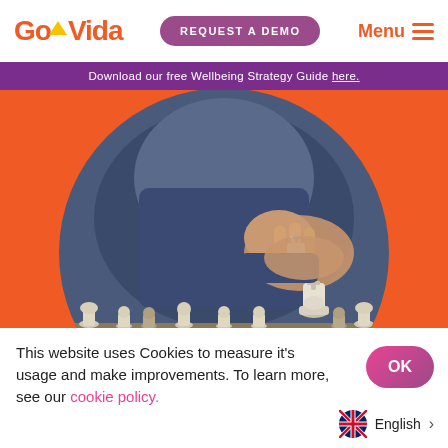GoVida | REQUEST A DEMO | Menu
Download our free Wellbeing Strategy Guide here.
[Figure (photo): A hand moving a chess king piece on a chessboard, with chess pieces in foreground and blurred blue background, displayed in a circular crop on an orange background.]
This website uses Cookies to measure it’s usage and make improvements. To learn more, see our cookie policy.
OK
English